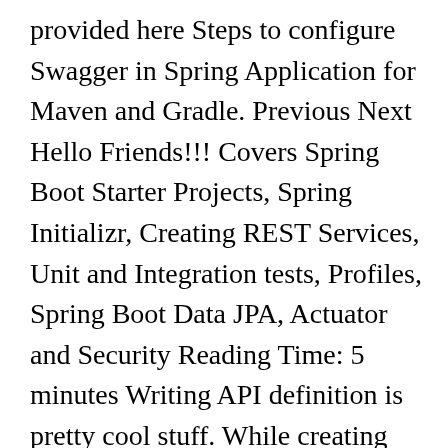provided here Steps to configure Swagger in Spring Application for Maven and Gradle. Previous Next Hello Friends!!! Covers Spring Boot Starter Projects, Spring Initializr, Creating REST Services, Unit and Integration tests, Profiles, Spring Boot Data JPA, Actuator and Security Reading Time: 5 minutes Writing API definition is pretty cool stuff. While creating Swagger documentation, we often need to hide endpoints from being exposed to end-users. Generate Swagger schema definition Add Maven dependency. Technologies used : Spring Boot 1.5.3.RELEASE; Spring 4.3.8.RELEASE; Spring Security 4.2.2 7. This will be exposed as part of